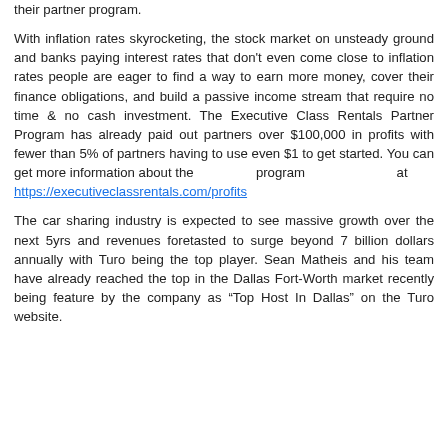their partner program.
With inflation rates skyrocketing, the stock market on unsteady ground and banks paying interest rates that don't even come close to inflation rates people are eager to find a way to earn more money, cover their finance obligations, and build a passive income stream that require no time & no cash investment. The Executive Class Rentals Partner Program has already paid out partners over $100,000 in profits with fewer than 5% of partners having to use even $1 to get started. You can get more information about the program at https://executiveclassrentals.com/profits
The car sharing industry is expected to see massive growth over the next 5yrs and revenues foretasted to surge beyond 7 billion dollars annually with Turo being the top player. Sean Matheis and his team have already reached the top in the Dallas Fort-Worth market recently being feature by the company as "Top Host In Dallas" on the Turo website.